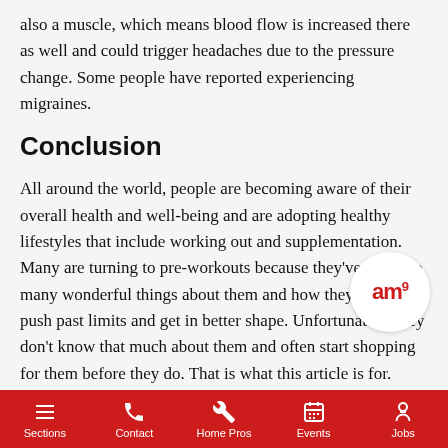also a muscle, which means blood flow is increased there as well and could trigger headaches due to the pressure change. Some people have reported experiencing migraines.
Conclusion
All around the world, people are becoming aware of their overall health and well-being and are adopting healthy lifestyles that include working out and supplementation. Many are turning to pre-workouts because they've heard so many wonderful things about them and how they can help push past limits and get in better shape. Unfortunately, they don't know that much about them and often start shopping for them before they do. That is what this article is for.
We have explained more about pre-workouts and some of the most common ingredients found in them. We've also looked at some of
[Figure (logo): Circular white logo with red 'am' text]
Sections | Contact | Home Pros | Events | Jobs